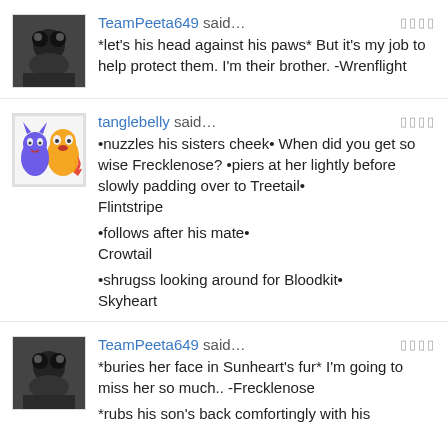TeamPeeta649 said… *let's his head against his paws* But it's my job to help protect them. I'm their brother. -Wrenflight
tanglebelly said… •nuzzles his sisters cheek• When did you get so wise Frecklenose? •piers at her lightly before slowly padding over to Treetail• Flintstripe

•follows after his mate• Crowtail

•shrugss looking around for Bloodkit• Skyheart
TeamPeeta649 said… *buries her face in Sunheart's fur* I'm going to miss her so much.. -Frecklenose

*rubs his son's back comfortingly with his